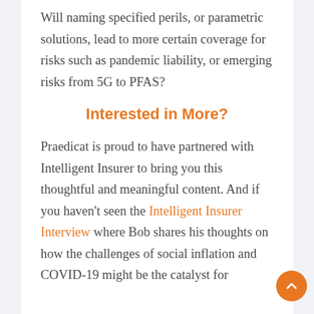Will naming specified perils, or parametric solutions, lead to more certain coverage for risks such as pandemic liability, or emerging risks from 5G to PFAS?
Interested in More?
Praedicat is proud to have partnered with Intelligent Insurer to bring you this thoughtful and meaningful content. And if you haven't seen the Intelligent Insurer Interview where Bob shares his thoughts on how the challenges of social inflation and COVID-19 might be the catalyst for